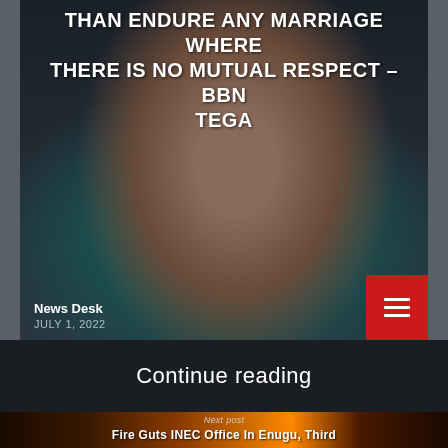[Figure (photo): Portrait photo of BBN Tega with article headline overlay on dark background]
Than Endure Any Marriage Where There Is No Mutual Respect – BBN Tega
News Desk
JULY 1, 2022
Continue reading
[Figure (photo): Fire/flames background image for next post about INEC office fire]
Next post
Fire Guts INEC Office In Enugu, Third